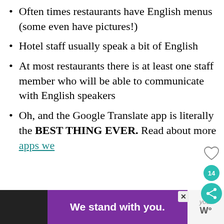Often times restaurants have English menus (some even have pictures!)
Hotel staff usually speak a bit of English
At most restaurants there is at least one staff member who will be able to communicate with English speakers
Oh, and the Google Translate app is literally the BEST THING EVER. Read about more apps we
[Figure (other): Ad banner reading 'We stand with you.' in purple and black with close button and logo]